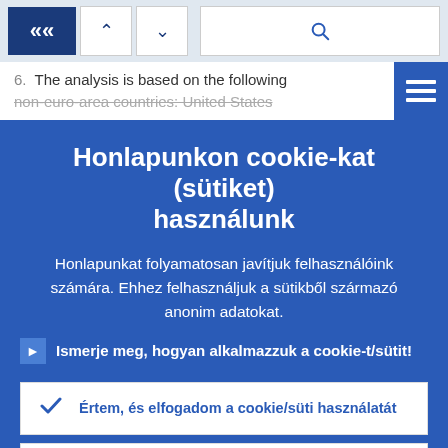[Figure (screenshot): Browser toolbar with back navigation (double left arrow in dark blue), up/down arrow buttons, and a search magnifier icon in a white input field, on a light blue-grey background.]
6.  The analysis is based on the following non-euro-area countries: United States
Honlapunkon cookie-kat (sütiket) használunk
Honlapunkat folyamatosan javítjuk felhasználóink számára. Ehhez felhasználjuk a sütikből származó anonim adatokat.
▶  Ismerje meg, hogyan alkalmazzuk a cookie-t/sütit!
✓  Értem, és elfogadom a cookie/süti használatát
✕  Visszautasítom a cookie/süti használatát